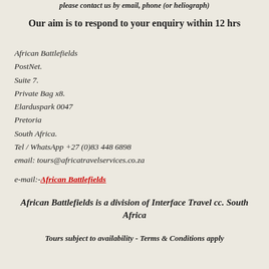please contact us by email, phone (or heliograph)
Our aim is to respond to your enquiry within 12 hrs
African Battlefields
PostNet.
Suite 7.
Private Bag x8.
Elarduspark 0047
Pretoria
South Africa.
Tel / WhatsApp +27 (0)83 448 6898
email: tours@africatravelservices.co.za
e-mail:- African Battlefields
African Battlefields is a division of Interface Travel cc. South Africa
Tours subject to availability - Terms & Conditions apply